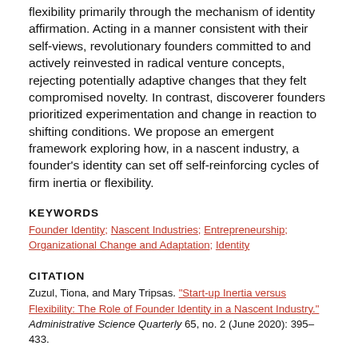flexibility primarily through the mechanism of identity affirmation. Acting in a manner consistent with their self-views, revolutionary founders committed to and actively reinvested in radical venture concepts, rejecting potentially adaptive changes that they felt compromised novelty. In contrast, discoverer founders prioritized experimentation and change in reaction to shifting conditions. We propose an emergent framework exploring how, in a nascent industry, a founder's identity can set off self-reinforcing cycles of firm inertia or flexibility.
KEYWORDS
Founder Identity; Nascent Industries; Entrepreneurship; Organizational Change and Adaptation; Identity
CITATION
Zuzul, Tiona, and Mary Tripsas. "Start-up Inertia versus Flexibility: The Role of Founder Identity in a Nascent Industry." Administrative Science Quarterly 65, no. 2 (June 2020): 395–433.